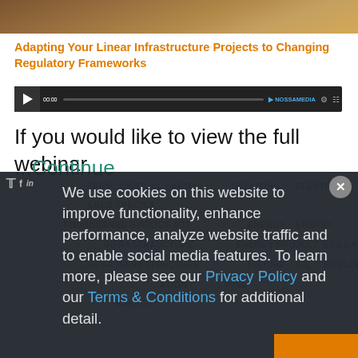[Figure (photo): Brown earth/rock textured image strip at top of page]
Adapting Your Linear Infrastructure Projects to Changing Regulatory Frameworks
[Figure (screenshot): Video player bar with play button, timecode, progress bar, NOSSAMEDIA logo and controls]
If you would like to view the full webinar
...Continue
We use cookies on this website to improve functionality, enhance performance, analyze website traffic and to enable social media features. To learn more, please see our Privacy Policy and our Terms & Conditions for additional detail.